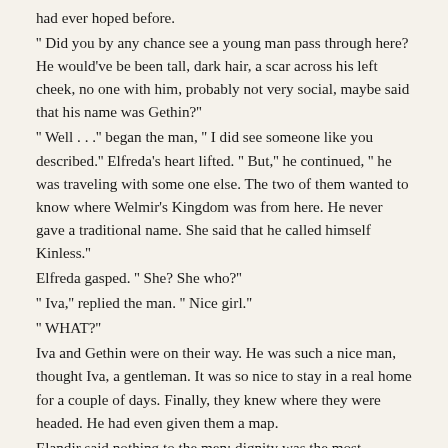had ever hoped before.
'' Did you by any chance see a young man pass through here? He would've be been tall, dark hair, a scar across his left cheek, no one with him, probably not very social, maybe said that his name was Gethin?''
'' Well . . .'' began the man, '' I did see someone like you described.'' Elfreda's heart lifted. '' But,'' he continued, '' he was traveling with some one else. The two of them wanted to know where Welmir's Kingdom was from here. He never gave a traditional name. She said that he called himself Kinless.''
Elfreda gasped. '' She? She who?''
'' Iva,'' replied the man. '' Nice girl.''
'' WHAT?''
Iva and Gethin were on their way. He was such a nice man, thought Iva, a gentleman. It was so nice to stay in a real home for a couple of days. Finally, they knew where they were headed. He had even given them a map.
Elandir said nothing to the men; dignity was the most important thing she had, and she would keep that, no matter what. To them, she supposed, she was something of a novelty for they kept looking at her. Jeering is more like it.
She tried not to let them see how worried she was. Had Iva simply